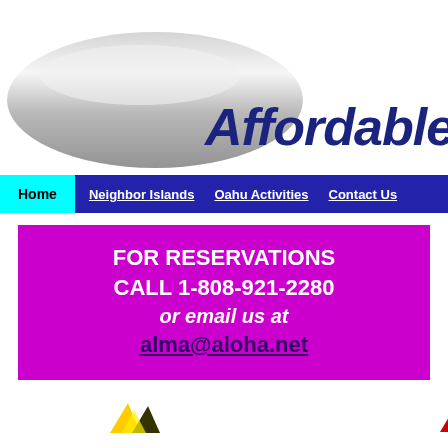[Figure (logo): Affordable Tours logo with silver ellipse/swoosh shape and dark blue italic text reading 'Affordable Tours.']
Home | Neighbor Islands | Oahu Activities | Contact Us
FOR RESERVATIONS
CALL 1-808-921-2280
or email us at
alma@aloha.net
[Figure (illustration): Partial view of two small decorative icon images at the bottom of the page — yellow/black shapes on the left and red/dark shapes on the right]